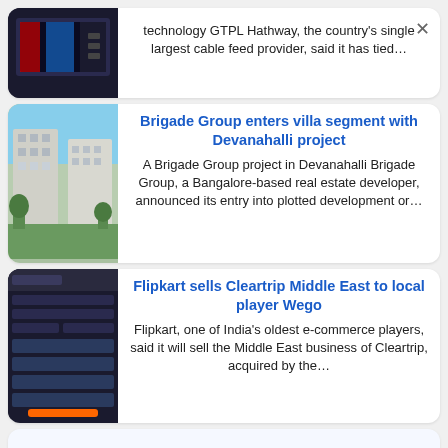technology GTPL Hathway, the country's single largest cable feed provider, said it has tied…
Brigade Group enters villa segment with Devanahalli project
A Brigade Group project in Devanahalli Brigade Group, a Bangalore-based real estate developer, announced its entry into plotted development or…
Flipkart sells Cleartrip Middle East to local player Wego
Flipkart, one of India's oldest e-commerce players, said it will sell the Middle East business of Cleartrip, acquired by the…